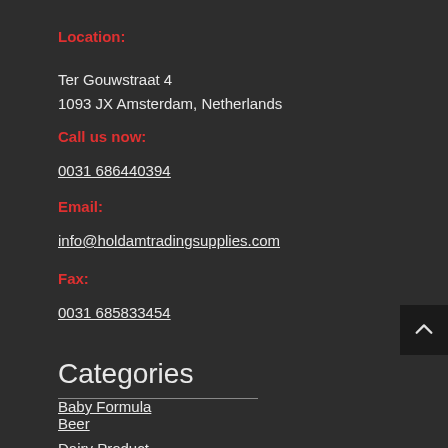Location:
Ter Gouwstraat 4
1093 JX Amsterdam, Netherlands
Call us now:
0031 686440394
Email:
info@holdamtradingsupplies.com
Fax:
0031 685833454
Categories
Baby Formula
Beer
Dairy Product